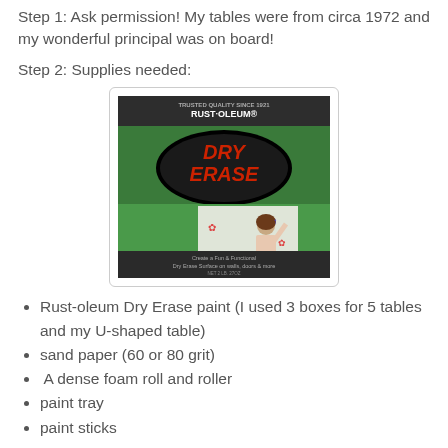Step 1: Ask permission! My tables were from circa 1972 and my wonderful principal was on board!
Step 2: Supplies needed:
[Figure (photo): A can of Rust-Oleum Dry Erase paint product with green and white packaging, showing a child writing on a wall. The label reads 'RUST-OLEUM DRY ERASE Writeable-Erasable Finish. Create a Fun & Functional Dry Erase Surface on walls, doors & more'.]
Rust-oleum Dry Erase paint (I used 3 boxes for 5 tables and my U-shaped table)
sand paper (60 or 80 grit)
A dense foam roll and roller
paint tray
paint sticks